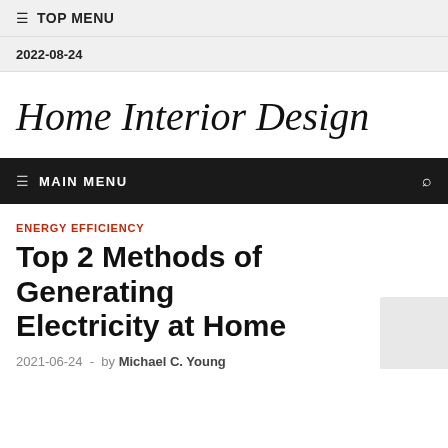≡ TOP MENU
2022-08-24
Home Interior Design
≡ MAIN MENU
ENERGY EFFICIENCY
Top 2 Methods of Generating Electricity at Home
2021-06-24 - by Michael C. Young